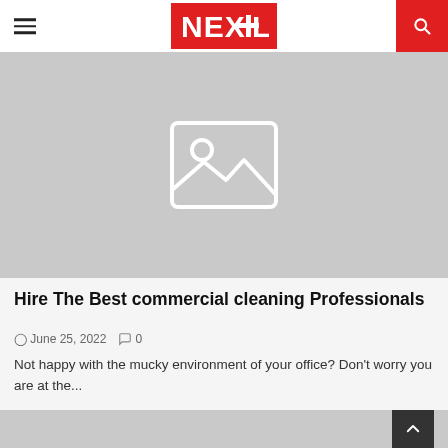NEXTLOL
[Figure (photo): Placeholder image with image icon on gray background]
Hire The Best commercial cleaning Professionals
June 25, 2022   0
Not happy with the mucky environment of your office? Don't worry you are at the...
[Figure (photo): Partial placeholder image at bottom of page]